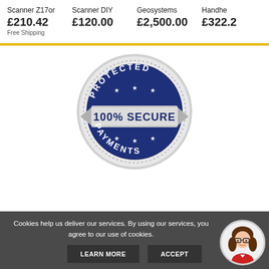Scanner Z17or
£210.42
Free Shipping
Scanner DIY
£120.00
Geosystems
£2,500.00
Handhe
£322.2
[Figure (illustration): 100% Secure Protected Payments badge/seal — silver scalloped circle with dark navy inner circle reading PROTECTED on top arc and PAYMENTS on bottom arc, with 100% SECURE in large white bold text across a silver banner in the center.]
Cookies help us deliver our services. By using our services, you agree to our use of cookies.
LEARN MORE
ACCEPT